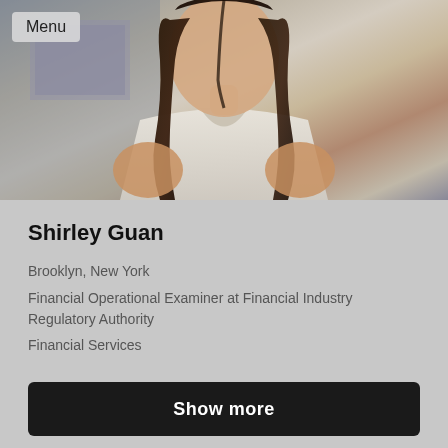Menu
[Figure (photo): Profile photo of Shirley Guan, a woman with long dark hair wearing a white sleeveless top, photographed in an office setting]
Shirley Guan
Brooklyn, New York
Financial Operational Examiner at Financial Industry Regulatory Authority
Financial Services
Show more